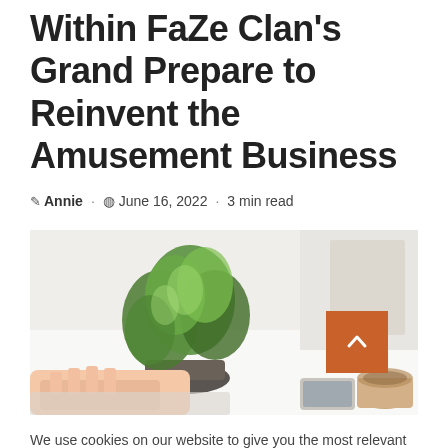Within FaZe Clan's Grand Prepare to Reinvent the Amusement Business
✎ Annie · ⊙ June 16, 2022 · 3 min read
[Figure (photo): A desk scene with a green plant in a glass bowl, a person's hands on a keyboard, a smartphone, and a coffee cup on a white surface.]
We use cookies on our website to give you the most relevant